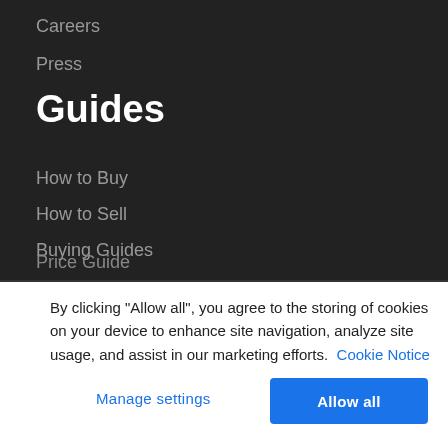Careers
Press
Guides
How to Buy
How to Sell
Buying Guides
Price Guide
By clicking “Allow all”, you agree to the storing of cookies on your device to enhance site navigation, analyze site usage, and assist in our marketing efforts. Cookie Notice
Manage settings
Allow all